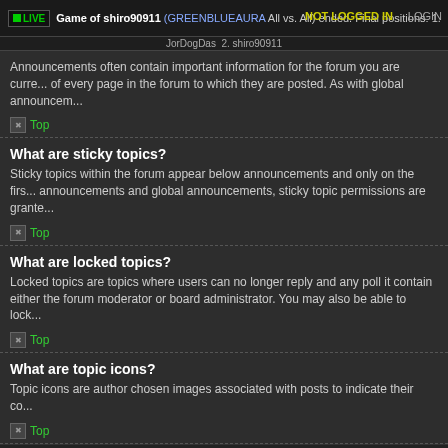LIVE Game of shiro90911 (GREENBLUEAURA All vs. All) ended. Final positions: 1. JorDogDas 2. shiro90911 — NOT LOGGED IN LOGIN
Announcements often contain important information for the forum you are currently reading and you should read them whenever possible. As with global announcements...
Top
What are sticky topics?
Sticky topics within the forum appear below announcements and only on the first page. They are often quite important so you should read them whenever possible. As with announcements and global announcements, sticky topic permissions are granted by the board administrator.
Top
What are locked topics?
Locked topics are topics where users can no longer reply and any poll it contains was automatically ended. Topics may be locked for many reasons and were set this way by either the forum moderator or board administrator. You may also be able to lock your own topics depending on the permissions you are granted by the board administrator.
Top
What are topic icons?
Topic icons are author chosen images associated with posts to indicate their content.
Top
User Levels and Groups
What are Administrators?
Administrators are members assigned with the highest level of control over the entire board. These members can control all facets of board operation, including setting permissions, banning users, creating usergroups or moderators, etc. depending...